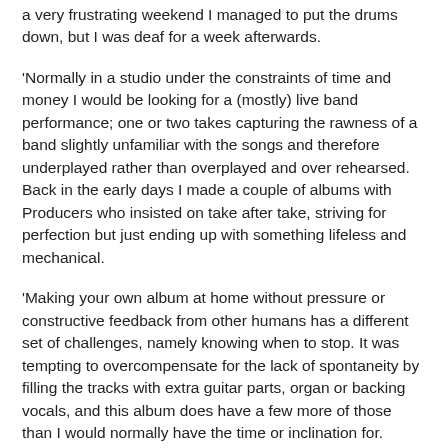a very frustrating weekend I managed to put the drums down, but I was deaf for a week afterwards.
'Normally in a studio under the constraints of time and money I would be looking for a (mostly) live band performance; one or two takes capturing the rawness of a band slightly unfamiliar with the songs and therefore underplayed rather than overplayed and over rehearsed. Back in the early days I made a couple of albums with Producers who insisted on take after take, striving for perfection but just ending up with something lifeless and mechanical.
'Making your own album at home without pressure or constructive feedback from other humans has a different set of challenges, namely knowing when to stop. It was tempting to overcompensate for the lack of spontaneity by filling the tracks with extra guitar parts, organ or backing vocals, and this album does have a few more of those than I would normally have the time or inclination for. Sometimes knowing when not to play is more important than what you do play, but that's so much easier in a band environment with the confidence and respect